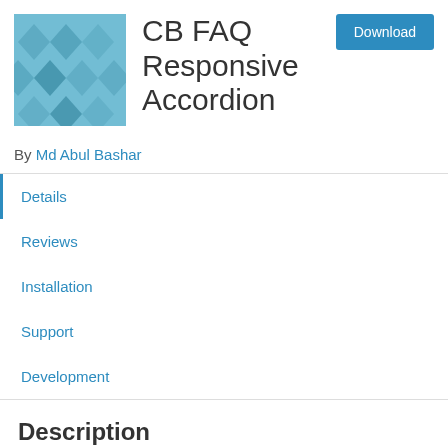[Figure (logo): Plugin logo with teal/blue diamond pattern on light blue background]
CB FAQ Responsive Accordion
By Md Abul Bashar
Details
Reviews
Installation
Support
Development
Description
Every Full Responsive FAQ Accordion...